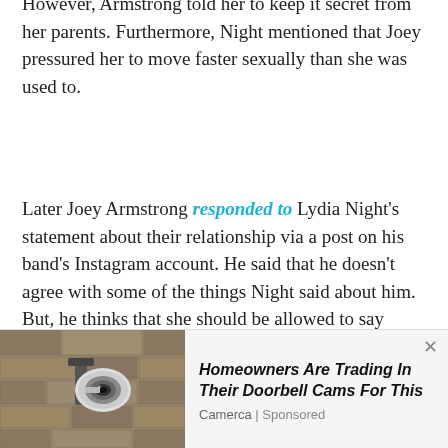However, Armstrong told her to keep it secret from her parents. Furthermore, Night mentioned that Joey pressured her to move faster sexually than she was used to.
Later Joey Armstrong responded to Lydia Night's statement about their relationship via a post on his band's Instagram account. He said that he doesn't agree with some of the things Night said about him. But, he thinks that she should be allowed to say them and be supported for speaking out.
Joey further explained that he respects Night and accepts that he failed her as a partner and treated her wrong during their relationship. Also, he wrote that he had apologized to Night privately, and hopes she can
[Figure (photo): Advertisement banner showing a smart security camera mounted on a wall, with text 'Homeowners Are Trading In Their Doorbell Cams For This' and source 'Camerca | Sponsored']